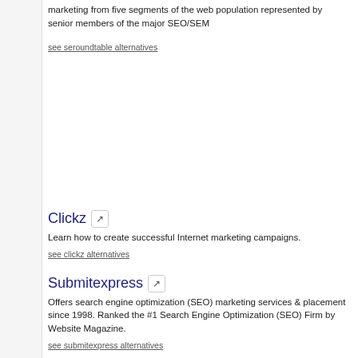marketing from five segments of the web population represented by senior members of the major SEO/SEM
see seroundtable alternatives
Clickz
Learn how to create successful Internet marketing campaigns.
see clickz alternatives
Submitexpress
Offers search engine optimization (SEO) marketing services & placement since 1998. Ranked the #1 Search Engine Optimization (SEO) Firm by Website Magazine.
see submitexpress alternatives